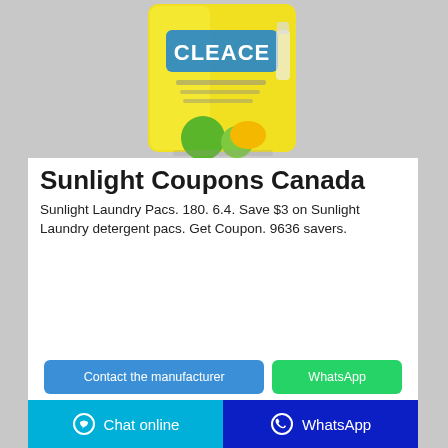[Figure (photo): Yellow bag of Cleace laundry detergent with lemon/citrus branding on a grey background]
Sunlight Coupons Canada
Sunlight Laundry Pacs. 180. 6.4. Save $3 on Sunlight Laundry detergent pacs. Get Coupon. 9636 savers.
Contact the manufacturer | WhatsApp | Chat online | WhatsApp